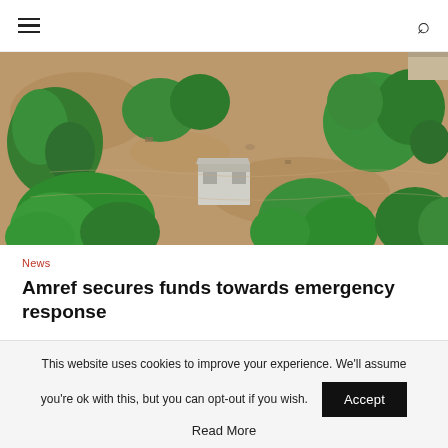≡  🔍
[Figure (photo): Aerial view of flooded area showing brown muddy water with trees and a small structure partially submerged]
News
Amref secures funds towards emergency response
May 13, 2019
Chikwawa, May 13, 2019: Concerned by the March devastating floods
This website uses cookies to improve your experience. We'll assume you're ok with this, but you can opt-out if you wish.
Accept
Read More